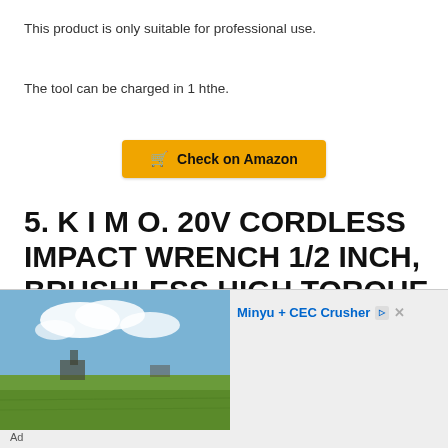This product is only suitable for professional use.
The tool can be charged in 1 hthe.
Check on Amazon
5. K I M O. 20V CORDLESS IMPACT WRENCH 1/2 INCH, BRUSHLESS HIGH TORQUE IMPACT WRENCH KIT 250 FT-LB 3000 RPM, LI-ION BATTERY, FAST
[Figure (photo): Advertisement banner showing a landscape photo of a field with blue sky and clouds, with text 'Minyu + CEC Crusher' and Ad label]
Ad